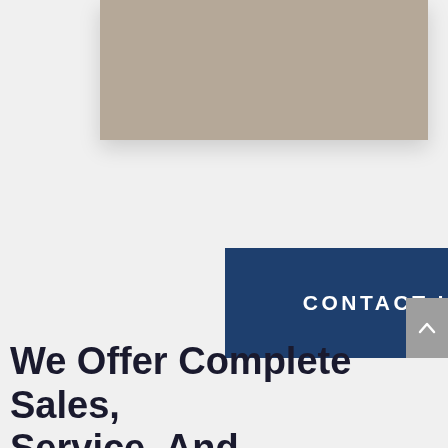[Figure (photo): A tan/beige colored image block at the top of the page, partially visible (cropped from a larger image above)]
CONTACT US NOW
[Figure (other): Gray scroll-to-top button with an upward-pointing chevron arrow on the right edge]
We Offer Complete Sales, Service, And Installation On A Wide Variety Of Locks And Lock Syste...